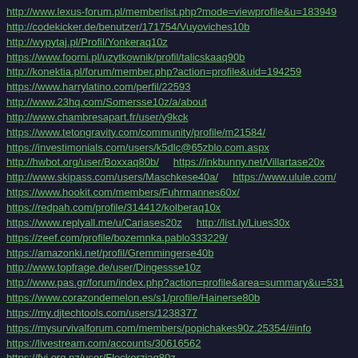http://www.lexus-forum.pl/memberlist.php?mode=viewprofile&u=183949
http://codekicker.de/benutzer/171754/Vuyoviches10b
http://wypytaj.pl/Profil/Yonkeraq10z
https://www.foorni.pl/uzytkownik/profil/talicskaaq90b
http://konektia.pl/forum/member.php?action=profile&uid=194259
https://www.harrylatino.com/perfil/22593
http://www.23hq.com/Somersse10z/a/about
http://www.chambresapart.fr/user/y9kck
https://www.tetongravity.com/community/profile/m21584/
https://investimonials.com/users/k5dlc@65zblo.com.aspx
http://hwbot.org/user/Boxxaq80b/    https://inkbunny.net/Villartase20x
http://www.skipass.com/users/Maschkese40a/    https://www.ulule.com/
https://www.hookit.com/members/Fuhrmannes60x/
https://redpah.com/profile/314412/kolberaq10x
https://www.replyall.me/u/Cariases20z    http://list.ly/Liues30x
https://zeef.com/profile/bozemnka.pablo333229/
https://amazonki.net/profil/Gremmingerse40b
http://www.topfrage.de/user/Dingessse10z
http://www.pas.gr/forum/index.php?action=profile&area=summary&u=531
https://www.corazondemelon.es/s1/profile/Hainerse80b
https://my.djtechtools.com/users/1238377
https://mysurvivalforum.com/members/popichakes90z.25354/#info
https://livestream.com/accounts/30616562
https://fyi.org.nz/user/Flockerziaq80z
https://www.recetario.es/users/jablonskyaq60b/376697
http://www.wishlistr.com/profile/Flockerzise10z
https://startupmatcher.com/p/andrewford-31
http://www.wishlistr.com/profile/Crutchleyaq50b
https://www.creativelive.com/student/Ceronskyse10x
http://clausraasted.dk/forum/member.php?u=28825